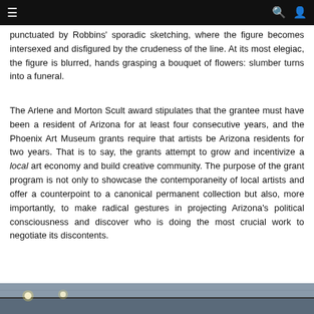Navigation bar with menu, search, and user icons
punctuated by Robbins' sporadic sketching, where the figure becomes intersexed and disfigured by the crudeness of the line. At its most elegiac, the figure is blurred, hands grasping a bouquet of flowers: slumber turns into a funeral.
The Arlene and Morton Scult award stipulates that the grantee must have been a resident of Arizona for at least four consecutive years, and the Phoenix Art Museum grants require that artists be Arizona residents for two years. That is to say, the grants attempt to grow and incentivize a local art economy and build creative community. The purpose of the grant program is not only to showcase the contemporaneity of local artists and offer a counterpoint to a canonical permanent collection but also, more importantly, to make radical gestures in projecting Arizona's political consciousness and discover who is doing the most crucial work to negotiate its discontents.
[Figure (photo): Interior ceiling of an art museum or gallery space with track lighting visible, showing ceiling beams and lights.]